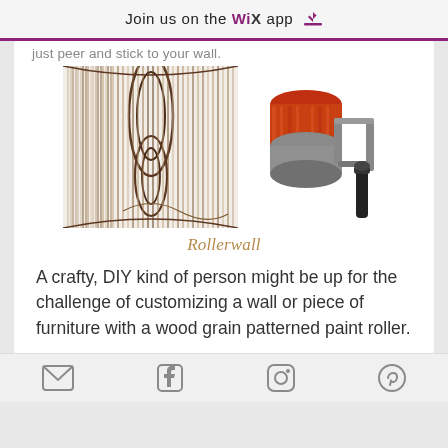Join us on the WiX app ↓
just peer and stick to your wall.
[Figure (photo): Wood grain pattern swatch on the left and a paint roller with textured red/orange roller cover on the right]
Rollerwall
A crafty, DIY kind of person might be up for the challenge of customizing a wall or piece of furniture with a wood grain patterned paint roller.
Email icon, Facebook icon, Instagram icon, Pinterest icon